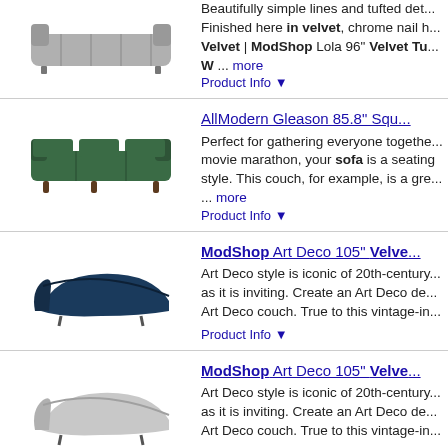[Figure (photo): Gray tufted sofa product image]
Beautifully simple lines and tufted details. Finished here in velvet, chrome nail h... Velvet | ModShop Lola 96" Velvet Tu... W ... more
Product Info ▼
[Figure (photo): Green square arm sofa product image]
AllModern Gleason 85.8" Squ...
Perfect for gathering everyone together... movie marathon, your sofa is a seating style. This couch, for example, is a gre... ... more
Product Info ▼
[Figure (photo): Dark navy blue curved Art Deco sofa product image]
ModShop Art Deco 105" Velve...
Art Deco style is iconic of 20th-century... as it is inviting. Create an Art Deco de... Art Deco couch. True to this vintage-in...
Product Info ▼
[Figure (photo): Light gray curved Art Deco sofa product image]
ModShop Art Deco 105" Velve...
Art Deco style is iconic of 20th-century... as it is inviting. Create an Art Deco de... Art Deco couch. True to this vintage-in...
Product Info ▼
[Figure (photo): Black and white modern sofa product image]
Willa Arlo™ Interiors Doyon 90...
Make a statement in your living room,... velvet sofa. It's made of kiln-dried soli... construction, foam cushions, and velv...